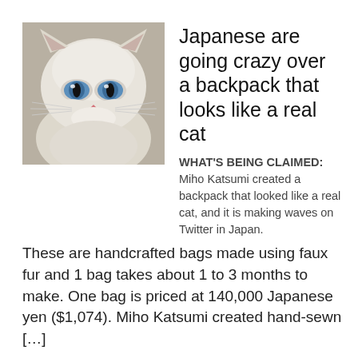[Figure (photo): Close-up photo of a white/cream British Shorthair cat with striking blue eyes, looking directly at the camera with a slightly grumpy expression. The cat has fluffy fur and a small pink nose.]
Japanese are going crazy over a backpack that looks like a real cat
WHAT'S BEING CLAIMED: Miho Katsumi created a backpack that looked like a real cat, and it is making waves on Twitter in Japan. These are handcrafted bags made using faux fur and 1 bag takes about 1 to 3 months to make. One bag is priced at 140,000 Japanese yen ($1,074). Miho Katsumi created hand-sewn […]